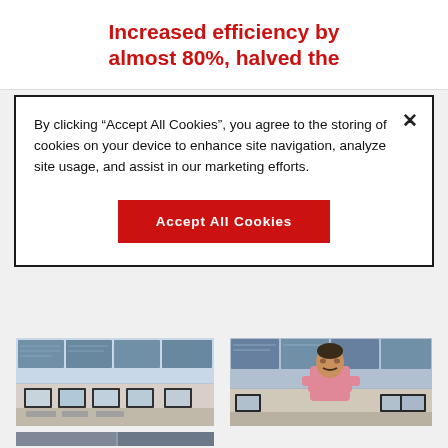Increased efficiency by almost 80%, halved the
By clicking “Accept All Cookies”, you agree to the storing of cookies on your device to enhance site navigation, analyze site usage, and assist in our marketing efforts.
Accept All Cookies
[Figure (photo): Control room with multiple monitors and large display wall showing network diagrams]
[Figure (photo): Man in pink shirt standing in front of large display wall in control room]
[Figure (photo): Large display wall in a room showing network diagrams]